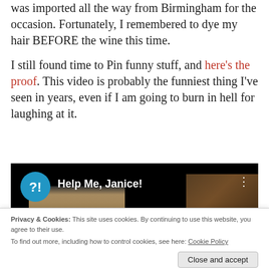was imported all the way from Birmingham for the occasion. Fortunately, I remembered to dye my hair BEFORE the wine this time.
I still found time to Pin funny stuff, and here's the proof. This video is probably the funniest thing I've seen in years, even if I am going to burn in hell for laughing at it.
[Figure (screenshot): Video thumbnail screenshot showing a YouTube-style video player with a blue circle channel icon with '?!' text, title 'Help Me, Janice!', a woman's face visible in the lower portion of the frame, and a dark background.]
Privacy & Cookies: This site uses cookies. By continuing to use this website, you agree to their use.
To find out more, including how to control cookies, see here: Cookie Policy